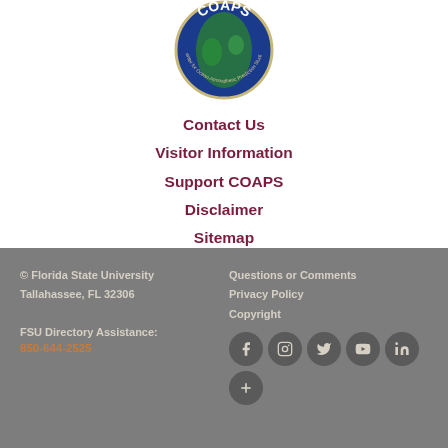[Figure (logo): COAPS (Center for Ocean-Atmospheric Prediction Studies) circular logo with globe and text]
Contact Us
Visitor Information
Support COAPS
Disclaimer
Sitemap
© Florida State University
Tallahassee, FL 32306

FSU Directory Assistance:
850-644-2525

Questions or Comments
Privacy Policy
Copyright